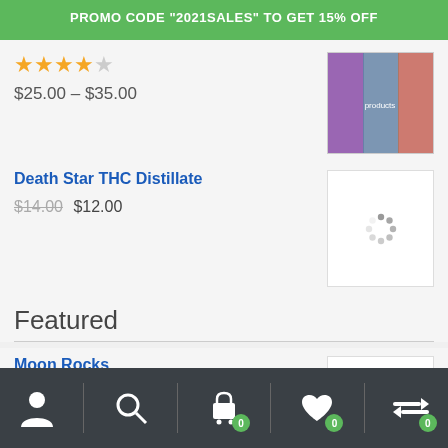PROMO CODE "2021SALES" TO GET 15% OFF
★★★★☆ $25.00 – $35.00
Death Star THC Distillate
$14.00 $12.00
Featured
Moon Rocks
$280.00 – $2,300.00
Nav bar with user, search, cart (0), wishlist (0), compare (0)